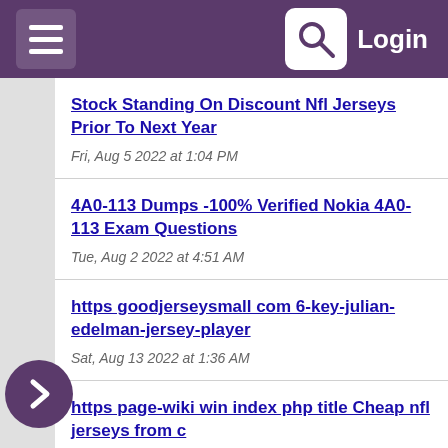Login
Stock Standing On Discount Nfl Jerseys Prior To Next Year
Fri, Aug 5 2022 at 1:04 PM
4A0-113 Dumps -100% Verified Nokia 4A0-113 Exam Questions
Tue, Aug 2 2022 at 4:51 AM
https goodjerseysmall com 6-key-julian-edelman-jersey-player
Sat, Aug 13 2022 at 1:36 AM
https page-wiki win index php title Cheap nfl jerseys from c